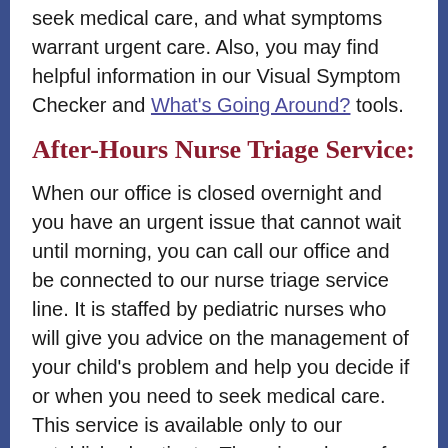seek medical care, and what symptoms warrant urgent care. Also, you may find helpful information in our Visual Symptom Checker and What's Going Around? tools.
After-Hours Nurse Triage Service:
When our office is closed overnight and you have an urgent issue that cannot wait until morning, you can call our office and be connected to our nurse triage service line. It is staffed by pediatric nurses who will give you advice on the management of your child's problem and help you decide if or when you need to seek medical care. This service is available only to our established patients. There is a charge for this service so if your concern is not urgent, you may want to wait until our office reopens. You will be alerted at